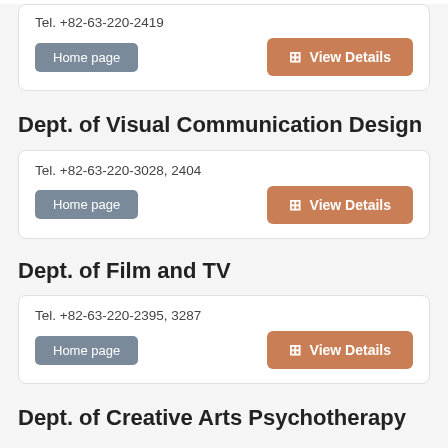Tel. +82-63-220-2419
Home page | View Details
Dept. of Visual Communication Design
Tel. +82-63-220-3028, 2404
Home page | View Details
Dept. of Film and TV
Tel. +82-63-220-2395, 3287
Home page | View Details
Dept. of Creative Arts Psychotherapy